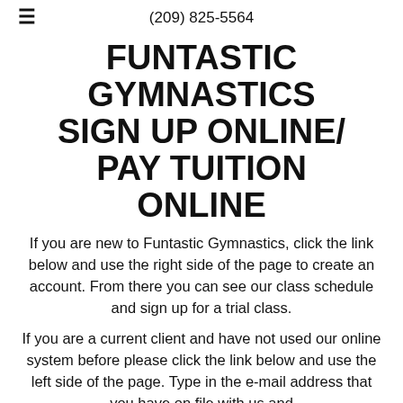(209) 825-5564
FUNTASTIC GYMNASTICS SIGN UP ONLINE/ PAY TUITION ONLINE
If you are new to Funtastic Gymnastics, click the link below and use the right side of the page to create an account. From there you can see our class schedule and sign up for a trial class.
If you are a current client and have not used our online system before please click the link below and use the left side of the page. Type in the e-mail address that you have on file with us and